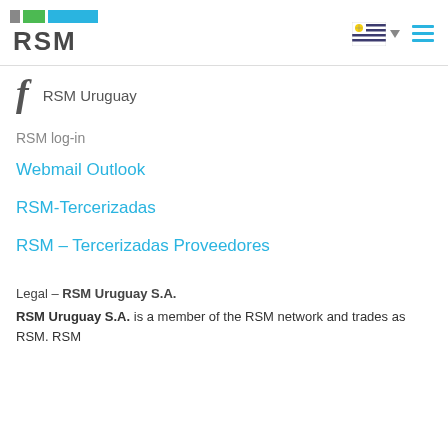[Figure (logo): RSM logo with colored bars (gray, green, blue) above the RSM text]
[Figure (illustration): Uruguay flag icon with dropdown arrow and hamburger menu icon]
RSM Uruguay
RSM log-in
Webmail Outlook
RSM-Tercerizadas
RSM – Tercerizadas Proveedores
Legal – RSM Uruguay S.A.
RSM Uruguay S.A. is a member of the RSM network and trades as RSM. RSM